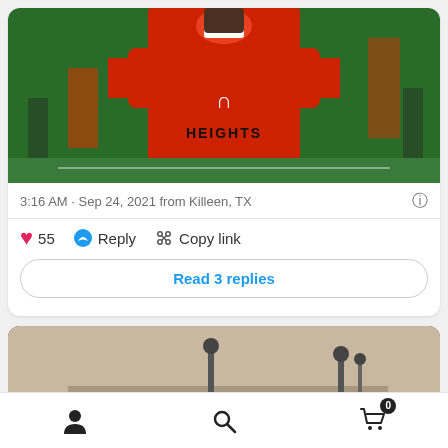[Figure (photo): Football player wearing red Under Armour Heights jersey on a field]
3:16 AM · Sep 24, 2021 from Killeen, TX
55  Reply  Copy link
Read 3 replies
[Figure (photo): Person with braided hair viewed from behind, outdoor setting with pole lights in background]
Profile  Search  Cart (0)